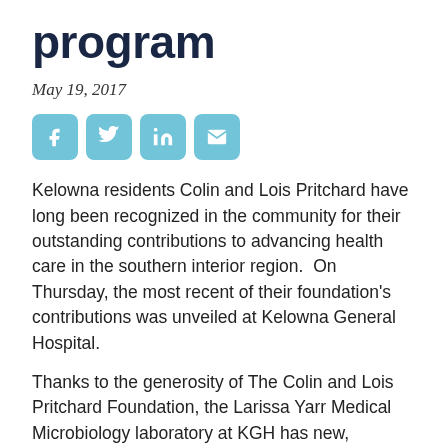program
May 19, 2017
[Figure (other): Social media sharing icons: Facebook, Twitter, LinkedIn, Email]
Kelowna residents Colin and Lois Pritchard have long been recognized in the community for their outstanding contributions to advancing health care in the southern interior region.  On Thursday, the most recent of their foundation's contributions was unveiled at Kelowna General Hospital.
Thanks to the generosity of The Colin and Lois Pritchard Foundation, the Larissa Yarr Medical Microbiology laboratory at KGH has new, sophisticated testing abilities with a real-time Polymerase Chain Reaction (PCR) laboratory. These